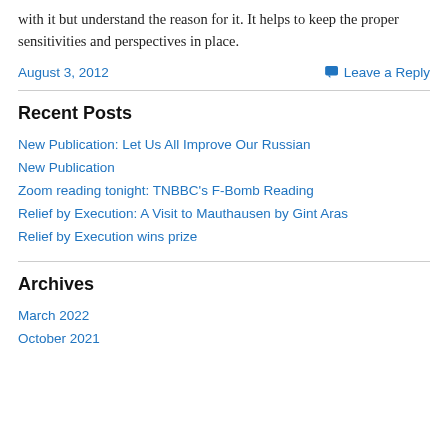with it but understand the reason for it. It helps to keep the proper sensitivities and perspectives in place.
August 3, 2012
Leave a Reply
Recent Posts
New Publication: Let Us All Improve Our Russian
New Publication
Zoom reading tonight: TNBBC's F-Bomb Reading
Relief by Execution: A Visit to Mauthausen by Gint Aras
Relief by Execution wins prize
Archives
March 2022
October 2021